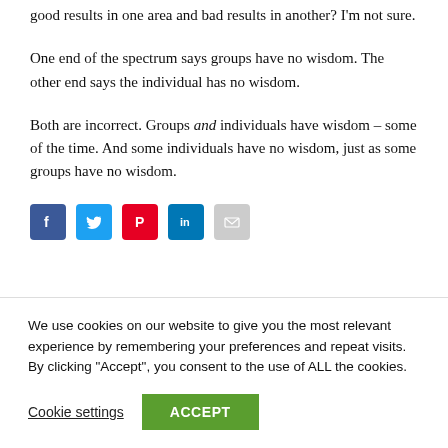good results in one area and bad results in another? I'm not sure.
One end of the spectrum says groups have no wisdom. The other end says the individual has no wisdom.
Both are incorrect. Groups and individuals have wisdom – some of the time. And some individuals have no wisdom, just as some groups have no wisdom.
[Figure (infographic): Row of social sharing icons: Facebook (blue), Twitter (light blue), Pinterest (red), LinkedIn (blue), Email (grey)]
We use cookies on our website to give you the most relevant experience by remembering your preferences and repeat visits. By clicking "Accept", you consent to the use of ALL the cookies.
Cookie settings   ACCEPT